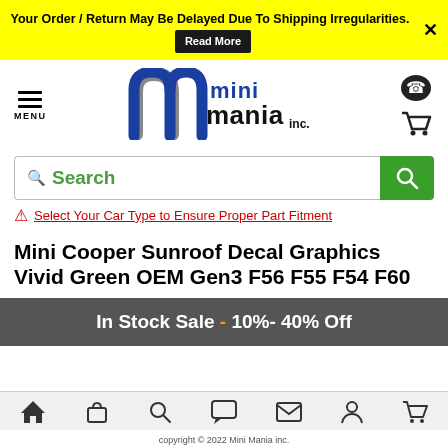Your Order / Return May Be Delayed Due To Shipping Irregularities. Read More
[Figure (logo): Mini Mania Inc. logo with stylized m and mini mania text]
Search
⚠ Select Your Car Type to Ensure Proper Part Fitment
Mini Cooper Sunroof Decal Graphics Vivid Green OEM Gen3 F56 F55 F54 F60
In Stock Sale - 10%- 40% Off
copyright © 2022 Mini Mania inc.